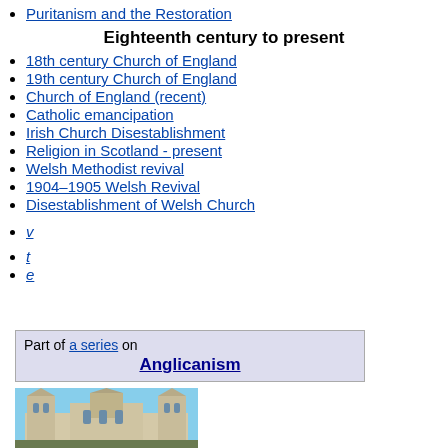Puritanism and the Restoration
Eighteenth century to present
18th century Church of England
19th century Church of England
Church of England (recent)
Catholic emancipation
Irish Church Disestablishment
Religion in Scotland - present
Welsh Methodist revival
1904–1905 Welsh Revival
Disestablishment of Welsh Church
v
t
e
Part of a series on Anglicanism
[Figure (photo): Canterbury Cathedral photograph, gothic architecture]